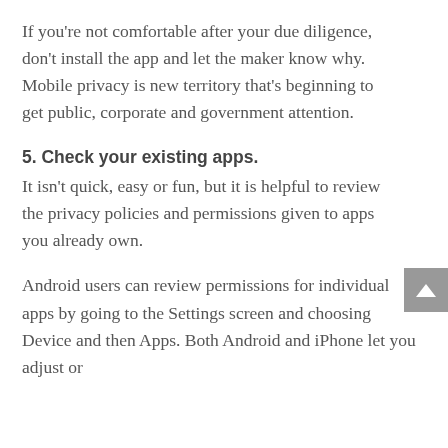If you're not comfortable after your due diligence, don't install the app and let the maker know why. Mobile privacy is new territory that's beginning to get public, corporate and government attention.
5. Check your existing apps.
It isn't quick, easy or fun, but it is helpful to review the privacy policies and permissions given to apps you already own.
Android users can review permissions for individual apps by going to the Settings screen and choosing Device and then Apps. Both Android and iPhone let you adjust or